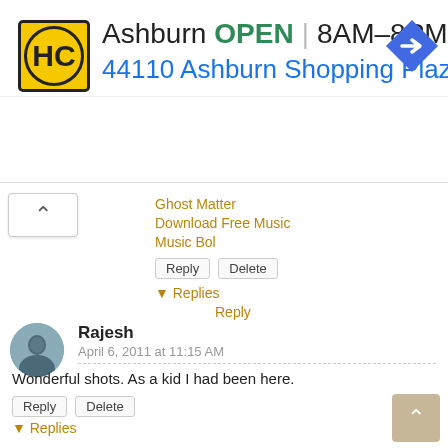[Figure (screenshot): Advertisement banner for HC Ashburn location. Shows HC logo in yellow square, text: Ashburn OPEN | 8AM-8PM, address: 44110 Ashburn Shopping Plaza 1., blue navigation arrow icon on right. Small play and close controls on left edge.]
Ghost Matter
Download Free Music
Music Bol
Reply   Delete
▼ Replies
Reply
Rajesh
April 6, 2011 at 11:15 AM
Wonderful shots. As a kid I had been here.
Reply   Delete
▼ Replies
Reply
Geet
April 6, 2011 at 6:42 PM
very nice caption and wonderful pics:)